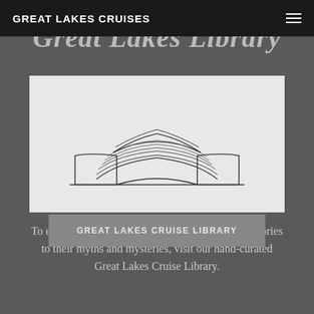GREAT LAKES CRUISES
Great Lakes Library
[Figure (illustration): Line drawing illustration of an open book on a flat surface, minimalist single-line art style, black lines on white/light background]
To explore more of the Great Lakes, from their histories to their myths and mysteries, visit our hand-curated Great Lakes Cruise Library.
GREAT LAKES CRUISE LIBRARY